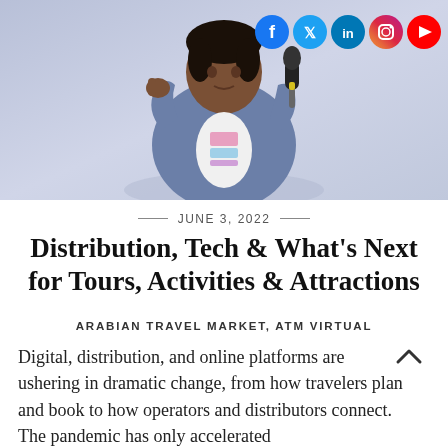[Figure (photo): A man in a blue blazer and graphic t-shirt speaking at a panel, holding a microphone, gesturing with one hand. Light purple/lavender background. Social media icons (Facebook, Twitter, LinkedIn, Instagram, YouTube) visible in the top right corner.]
JUNE 3, 2022
Distribution, Tech & What’s Next for Tours, Activities & Attractions
ARABIAN TRAVEL MARKET, ATM VIRTUAL
Digital, distribution, and online platforms are ushering in dramatic change, from how travelers plan and book to how operators and distributors connect. The pandemic has only accelerated